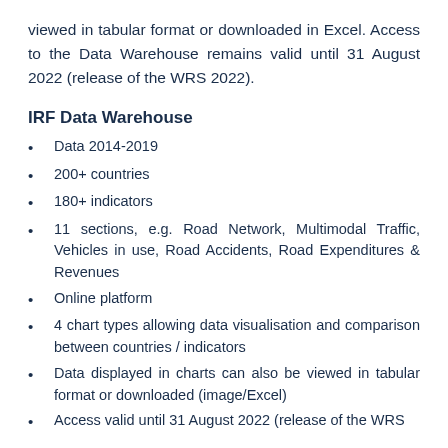viewed in tabular format or downloaded in Excel. Access to the Data Warehouse remains valid until 31 August 2022 (release of the WRS 2022).
IRF Data Warehouse
Data 2014-2019
200+ countries
180+ indicators
11 sections, e.g. Road Network, Multimodal Traffic, Vehicles in use, Road Accidents, Road Expenditures & Revenues
Online platform
4 chart types allowing data visualisation and comparison between countries / indicators
Data displayed in charts can also be viewed in tabular format or downloaded (image/Excel)
Access valid until 31 August 2022 (release of the WRS